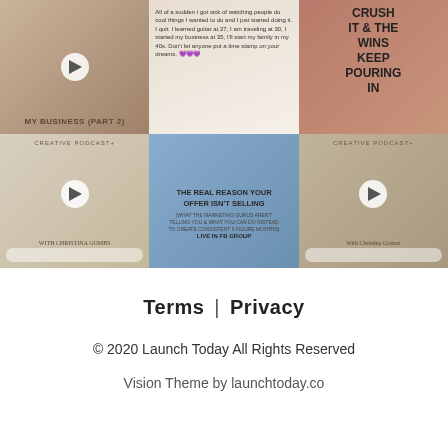[Figure (screenshot): Instagram grid of 6 posts: row 1: woman with hat (video), text post about dreams, woman in red top with motivational text; row 2: podcast post with woman laughing, offer post about selling, podcast post with woman]
Terms | Privacy
© 2020 Launch Today All Rights Reserved
Vision Theme by launchtoday.co